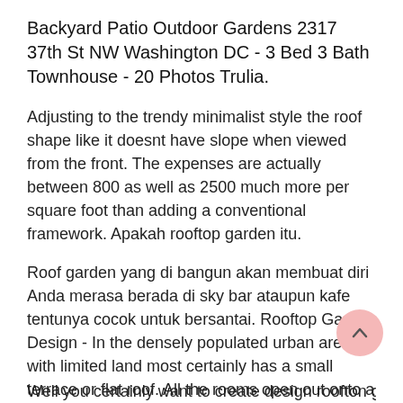Backyard Patio Outdoor Gardens 2317 37th St NW Washington DC - 3 Bed 3 Bath Townhouse - 20 Photos Trulia.
Adjusting to the trendy minimalist style the roof shape like it doesnt have slope when viewed from the front. The expenses are actually between 800 as well as 2500 much more per square foot than adding a conventional framework. Apakah rooftop garden itu.
Roof garden yang di bangun akan membuat diri Anda merasa berada di sky bar ataupun kafe tentunya cocok untuk bersantai. Rooftop Garden Design - In the densely populated urban areas with limited land most certainly has a small terrace or flat roof. All the rooms open out onto a terrace enclosed with planting.
Well you certainly want to create design roofton garden